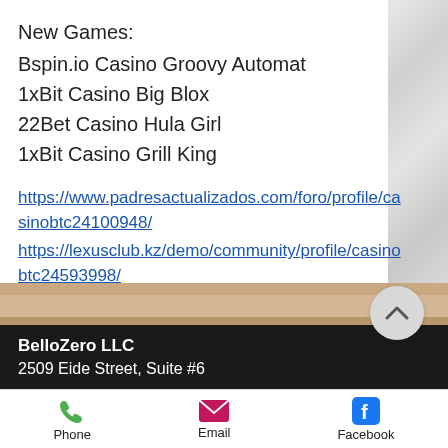New Games:
Bspin.io Casino Groovy Automat
1xBit Casino Big Blox
22Bet Casino Hula Girl
1xBit Casino Grill King
https://www.padresactualizados.com/foro/profile/casinobtc24100948/ https://lexusclub.kz/demo/community/profile/casinobtc24593998/ https://www.valvulasyconexionestuvacom.com/profile/homerfrizell1974/profile https://watwp.com/groups/casino-table-games-rentals-pay-and-play-casino-list/
BelloZero LLC
2509 Eide Street, Suite #6
Phone  Email  Facebook